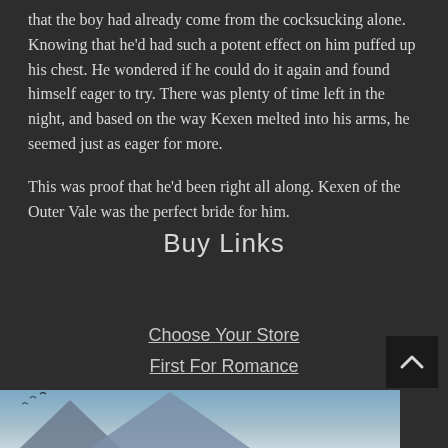that the boy had already come from the cocksucking alone. Knowing that he'd had such a potent effect on him puffed up his chest. He wondered if he could do it again and found himself eager to try. There was plenty of time left in the night, and based on the way Kexen melted into his arms, he seemed just as eager for more.

This was proof that he'd been right all along. Kexen of the Outer Vale was the perfect bride for him.
Buy Links
Choose Your Store
First For Romance
[Figure (illustration): Bottom portion of page showing a stylized landscape with pyramids under a light blue sky with birds]